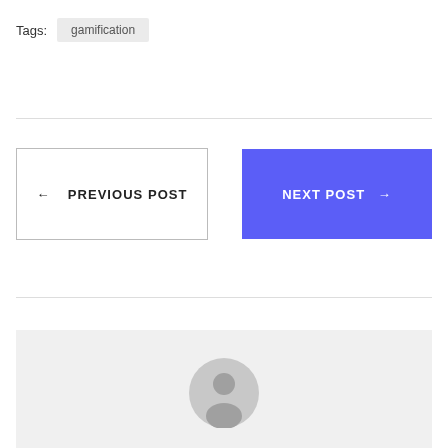Tags: gamification
← PREVIOUS POST
NEXT POST →
[Figure (illustration): Author avatar placeholder — grey circle with a person silhouette icon on a light grey background]